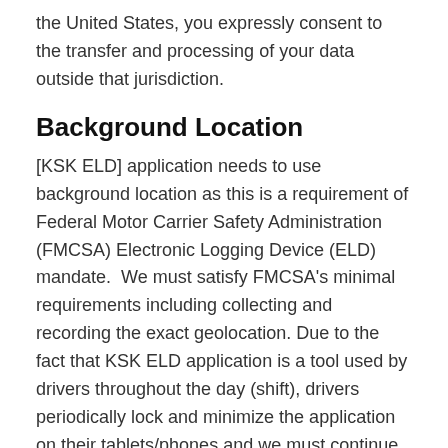the United States, you expressly consent to the transfer and processing of your data outside that jurisdiction.
Background Location
[KSK ELD] application needs to use background location as this is a requirement of Federal Motor Carrier Safety Administration (FMCSA) Electronic Logging Device (ELD) mandate.  We must satisfy FMCSA's minimal requirements including collecting and recording the exact geolocation. Due to the fact that KSK ELD application is a tool used by drivers throughout the day (shift), drivers periodically lock and minimize the application on their tablets/phones and we must continue to track their location in the background. This is one of the main requirements of the mandate as geolocation must be recorded and shown during